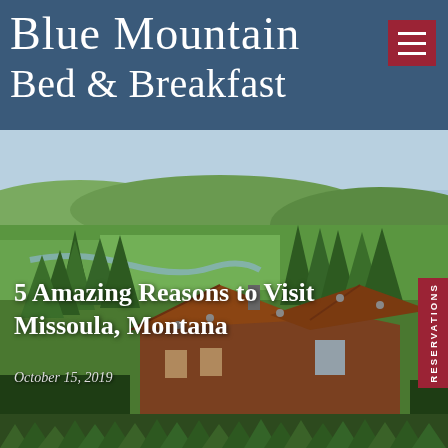Blue Mountain Bed & Breakfast
[Figure (photo): Aerial landscape photo showing a log cabin/lodge building with brown shingled roof surrounded by pine trees, with green valley fields and a river visible in the background under a partly cloudy sky.]
5 Amazing Reasons to Visit Missoula, Montana
October 15, 2019
[Figure (photo): Bottom strip showing dense green pine/fir forest trees.]